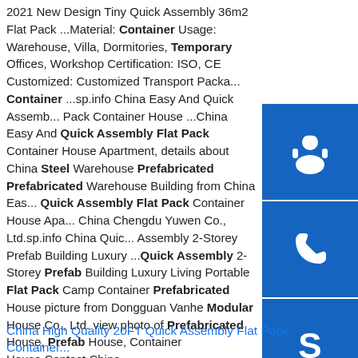2021 New Design Tiny Quick Assembly 36m2 Flat Pack ...Material: Container Usage: Warehouse, Villa, Dormitories, Temporary Offices, Workshop Certification: ISO, CE Customized: Customized Transport Packa... Container ...sp.info China Easy And Quick Assemb... Pack Container House ...China Easy And Quick Assembly Flat Pack Container House Apartment, details about China Steel Warehouse Prefabricated Prefabricated Warehouse Building from China Eas... Quick Assembly Flat Pack Container House Apa... China Chengdu Yuwen Co., Ltd.sp.info China Quic... Assembly 2-Storey Prefab Building Luxury ...Quick Assembly 2-Storey Prefab Building Luxury Living Portable Flat Pack Camp Container Prefabricated House picture from Dongguan Vanhe Modular House Co., Ltd. view photo of Prefabricated House, Prefab House, Container House.Contact China …
[Figure (infographic): Three blue sidebar buttons: headset/support icon, phone icon, and Skype icon]
China High Quality 20FT Quick Assembly Flat Pack Container...